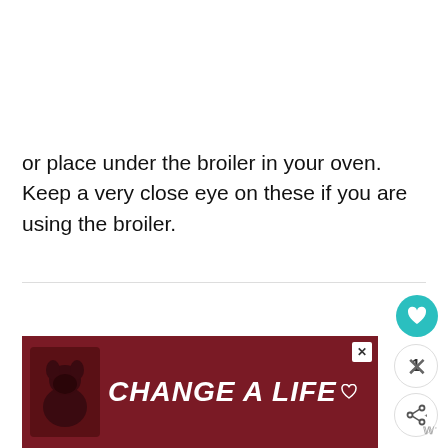or place under the broiler in your oven.  Keep a very close eye on these if you are using the broiler.
[Figure (infographic): Advertisement banner at bottom of page showing a black dog on dark red background with bold italic white text 'CHANGE A LIFE' and a small heart icon. Includes close/dismiss buttons and a share button with heart icon in teal circle. Below ad, X dismiss button and Wordpress logo watermark visible.]